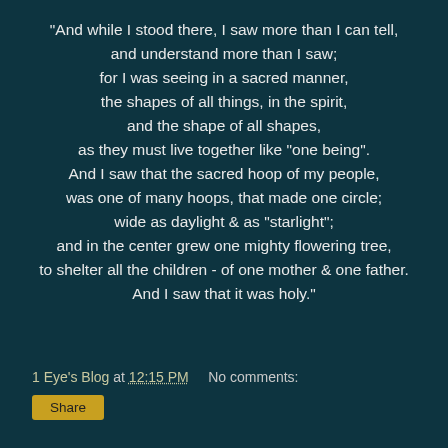"And while I stood there, I saw more than I can tell, and understand more than I saw; for I was seeing in a sacred manner, the shapes of all things, in the spirit, and the shape of all shapes, as they must live together like "one being". And I saw that the sacred hoop of my people, was one of many hoops, that made one circle; wide as daylight & as "starlight"; and in the center grew one mighty flowering tree, to shelter all the children - of one mother & one father. And I saw that it was holy."
1 Eye's Blog at 12:15 PM    No comments: